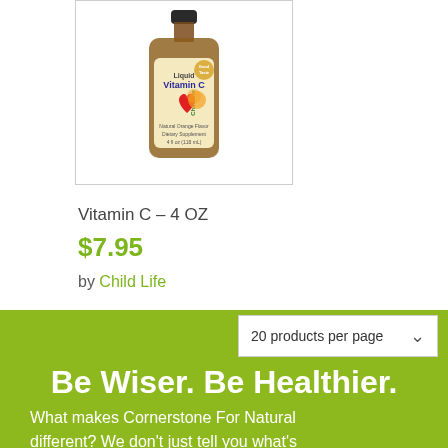[Figure (photo): ChildLife Liquid Vitamin C product bottle (amber/brown glass bottle with label showing red heart and orange/yellow design), displayed in a white bordered product image box]
Vitamin C – 4 OZ
$7.95
by Child Life
20 products per page
Be Wiser. Be Healthier.
What makes Cornerstone For Natural different? We don't just tell you what's